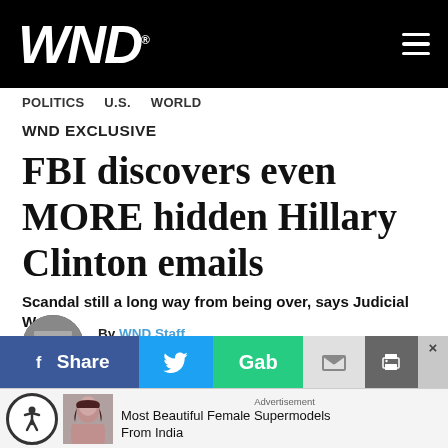WND
POLITICS   U.S.   WORLD
WND EXCLUSIVE
FBI discovers even MORE hidden Hillary Clinton emails
Scandal still a long way from being over, says Judicial Watch
By WND Staff
Published November 27, 2019 at 11:20am
[Figure (other): Social sharing bar with Facebook Share, Twitter, Gab, email, and print buttons]
Advertisement
Most Beautiful Female Supermodels From India